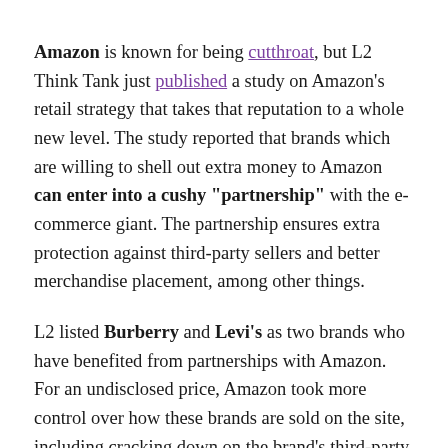Amazon is known for being cutthroat, but L2 Think Tank just published a study on Amazon's retail strategy that takes that reputation to a whole new level. The study reported that brands which are willing to shell out extra money to Amazon can enter into a cushy "partnership" with the e-commerce giant. The partnership ensures extra protection against third-party sellers and better merchandise placement, among other things.

L2 listed Burberry and Levi's as two brands who have benefited from partnerships with Amazon. For an undisclosed price, Amazon took more control over how these brands are sold on the site, including cracking down on the brand's third-party sellers as well as displaying their